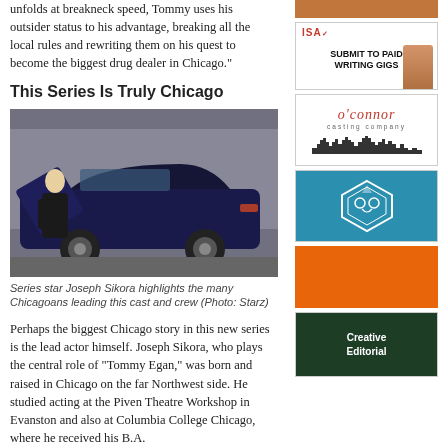unfolds at breakneck speed, Tommy uses his outsider status to his advantage, breaking all the local rules and rewriting them on his quest to become the biggest drug dealer in Chicago."
This Series Is Truly Chicago
[Figure (photo): Series star Joseph Sikora exiting a dark blue vintage muscle car on a Chicago street]
Series star Joseph Sikora highlights the many Chicagoans leading this cast and crew (Photo: Starz)
Perhaps the biggest Chicago story in this new series is the lead actor himself. Joseph Sikora, who plays the central role of “Tommy Egan,” was born and raised in Chicago on the far Northwest side. He studied acting at the Piven Theatre Workshop in Evanston and also at Columbia College Chicago, where he received his B.A.
[Figure (illustration): Brown/orange advertisement banner]
[Figure (illustration): ISA - Submit to Paid Writing Gigs advertisement with woman smiling]
[Figure (logo): O'Connor Casting Company logo with city skyline]
[Figure (illustration): Teal background with white geometric diamond/owl illustration]
[Figure (illustration): Orange advertisement banner]
[Figure (illustration): Dark green Creative Editorial advertisement]